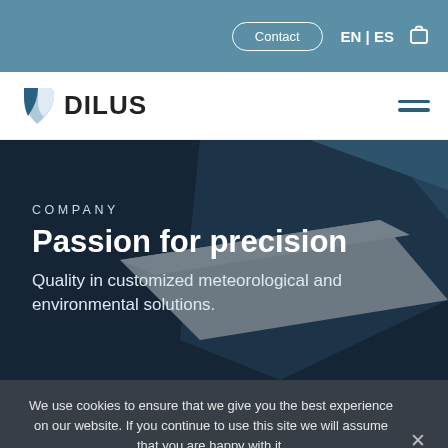Contact | EN | ES
[Figure (logo): DILUS company logo with blue and white leaf icon and DILUS wordmark]
COMPANY
Passion for precision
Quality in customized meteorological and environmental solutions.
We use cookies to ensure that we give you the best experience on our website. If you continue to use this site we will assume that you are happy with it.
Agree